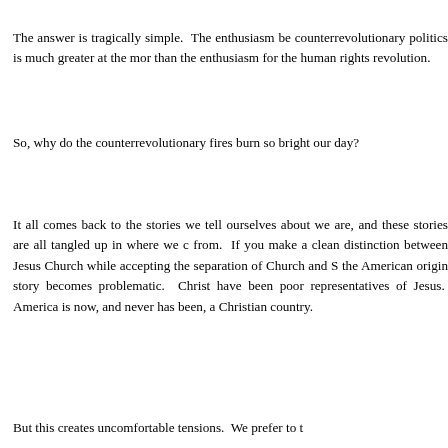The answer is tragically simple. The enthusiasm be counterrevolutionary politics is much greater at the mor than the enthusiasm for the human rights revolution.
So, why do the counterrevolutionary fires burn so bright our day?
It all comes back to the stories we tell ourselves about we are, and these stories are all tangled up in where we c from. If you make a clean distinction between Jesus Church while accepting the separation of Church and S the American origin story becomes problematic. Christ have been poor representatives of Jesus. America is now, and never has been, a Christian country.
But this creates uncomfortable tensions. We prefer to t